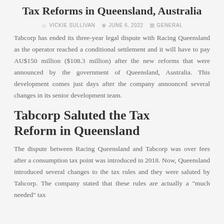Tabcorp Saluted New Racing Industry Tax Reforms in Queensland, Australia
VICKIE SULLIVAN  JUNE 6, 2022  GENERAL
Tabcorp has ended its three-year legal dispute with Racing Queensland as the operator reached a conditional settlement and it will have to pay AU$150 million ($108.3 million) after the new reforms that were announced by the government of Queensland, Australia. This development comes just days after the company announced several changes in its senior development team.
Tabcorp Saluted the Tax Reform in Queensland
The dispute between Racing Queensland and Tabcorp was over fees after a consumption tax point was introduced in 2018. Now, Queensland introduced several changes to the tax rules and they were saluted by Tabcorp. The company stated that these rules are actually a "much needed" tax